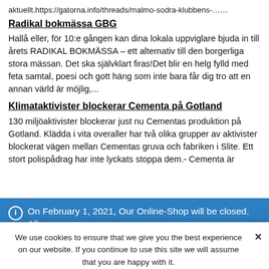aktuellt.https://gatorna.info/threads/malmo-sodra-klubbens-……
Radikal bokmässa GBG
Hallå eller, för 10:e gången kan dina lokala uppviglare bjuda in till årets RADIKAL BOKMÄSSA – ett alternativ till den borgerliga stora mässan. Det ska självklart firas!Det blir en helg fylld med feta samtal, poesi och gott häng som inte bara får dig tro att en annan värld är möjlig,...
Klimataktivister blockerar Cementa på Gotland
130 miljöaktivister blockerar just nu Cementas produktion på Gotland. Klädda i vita overaller har två olika grupper av aktivister blockerat vägen mellan Cementas gruva och fabriken i Slite. Ett stort polispådrag har inte lyckats stoppa dem.- Cementa är
On February 1, 2021, Our Online-Shop will be closed. All orders until January 31 will be delivered
Dismiss
We use cookies to ensure that we give you the best experience on our website. If you continue to use this site we will assume that you are happy with it.
Ok